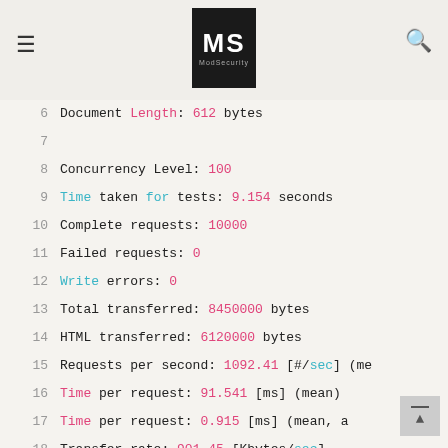MS ModSecurity
6  Document Length:        612 bytes
7
8  Concurrency Level:       100
9  Time taken for tests:    9.154 seconds
10 Complete requests:       10000
11 Failed requests:         0
12 Write errors:            0
13 Total transferred:       8450000 bytes
14 HTML transferred:        6120000 bytes
15 Requests per second:     1092.41 [#/sec] (me
16 Time per request:        91.541 [ms] (mean)
17 Time per request:        0.915 [ms] (mean, a
18 Transfer rate:           901.45 [Kbytes/sec]
19
20 Connection Times (ms)
21                   min  mean[+/-sd] median
22 Connect:          0    1    1.0     1
23 Processing:       15   90   15.6    88   170
24 Waiting:          1    62   26.3    64   155